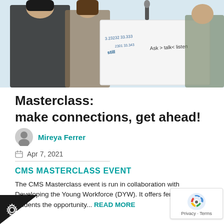[Figure (photo): Photo of students at a masterclass event, holding a whiteboard with writing including 'Ask > talk < listen']
Masterclass: make connections, get ahead!
Mireya Ferrer
Apr 7, 2021
CMS MASTERCLASS EVENT
The CMS Masterclass event is run in collaboration with Developing the Young Workforce (DYW). It offers female students the opportunity... READ MORE